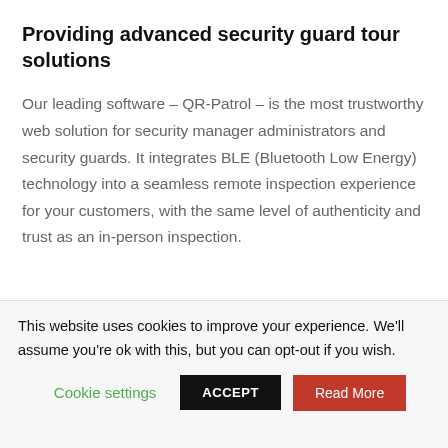Providing advanced security guard tour solutions
Our leading software – QR-Patrol – is the most trustworthy web solution for security manager administrators and security guards. It integrates BLE (Bluetooth Low Energy) technology into a seamless remote inspection experience for your customers, with the same level of authenticity and trust as an in-person inspection.
This website uses cookies to improve your experience. We'll assume you're ok with this, but you can opt-out if you wish.
Cookie settings  ACCEPT  Read More